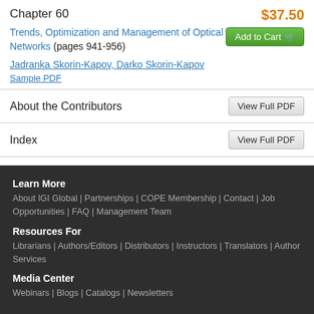Chapter 60
$37.50
Trends, Optimization and Management of Optical Networks (pages 941-956)
Add to Cart
Jadranka Skorin-Kapov, Darko Skorin-Kapov
Sample PDF
About the Contributors
View Full PDF
Index
View Full PDF
Learn More
About IGI Global | Partnerships | COPE Membership | Contact | Job Opportunities | FAQ | Management Team
Resources For
Librarians | Authors/Editors | Distributors | Instructors | Translators | Author Services
Media Center
Webinars | Blogs | Catalogs | Newsletters